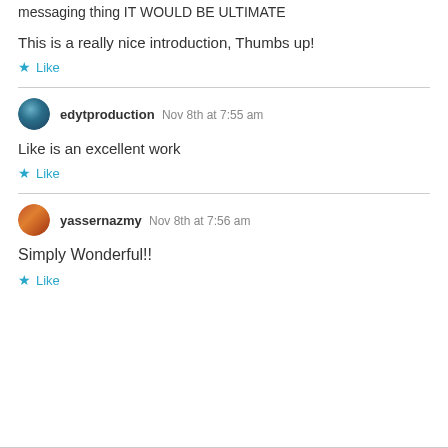messaging thing IT WOULD BE ULTIMATE
This is a really nice introduction, Thumbs up!
★ Like
edytproduction   Nov 8th at 7:55 am
Like is an excellent work
★ Like
yassernazmy   Nov 8th at 7:56 am
Simply Wonderful!!
★ Like